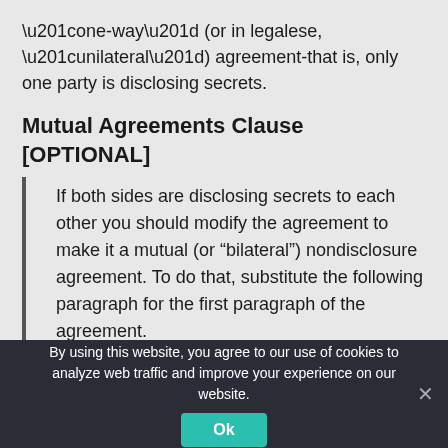“one-way” (or in legalese, “unilateral”) agreement-that is, only one party is disclosing secrets.
Mutual Agreements Clause [OPTIONAL]
If both sides are disclosing secrets to each other you should modify the agreement to make it a mutual (or “bilateral”) nondisclosure agreement. To do that, substitute the following paragraph for the first paragraph of the agreement.
This Nondisclosure agreement (the “Agreement”) is entered into by and between ___ [insert your name, business form and address] and ___ [insert
By using this website, you agree to our use of cookies to analyze web traffic and improve your experience on our website.